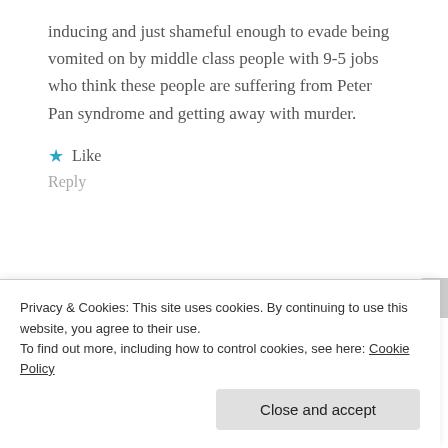inducing and just shameful enough to evade being vomited on by middle class people with 9-5 jobs who think these people are suffering from Peter Pan syndrome and getting away with murder.
★ Like
Reply
[Figure (illustration): Advertisement banner with orange and pink background showing text 'in the back.']
Privacy & Cookies: This site uses cookies. By continuing to use this website, you agree to their use.
To find out more, including how to control cookies, see here: Cookie Policy
Close and accept